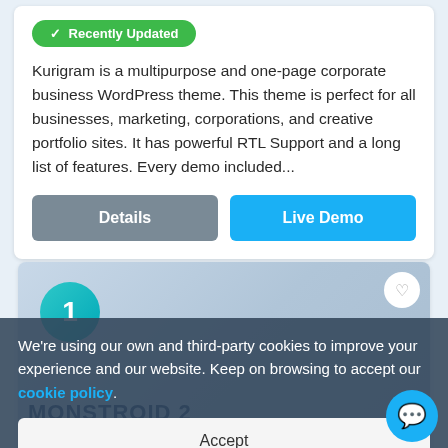✓ Recently Updated
Kurigram is a multipurpose and one-page corporate business WordPress theme. This theme is perfect for all businesses, marketing, corporations, and creative portfolio sites. It has powerful RTL Support and a long list of features. Every demo included...
Details
Live Demo
[Figure (screenshot): Preview card showing a product thumbnail with circular badge numbered '1' and 'MONSTROID 2' text, with a heart/favorite icon button]
We're using our own and third-party cookies to improve your experience and our website. Keep on browsing to accept our cookie policy.
Accept